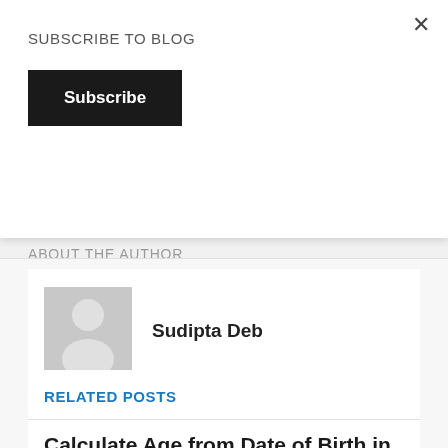×
SUBSCRIBE TO BLOG
Subscribe
ABOUT THE AUTHOR
[Figure (photo): Generic grey avatar/profile placeholder image]
Sudipta Deb
RELATED POSTS
Calculate Age from Date of Birth in Salesforce